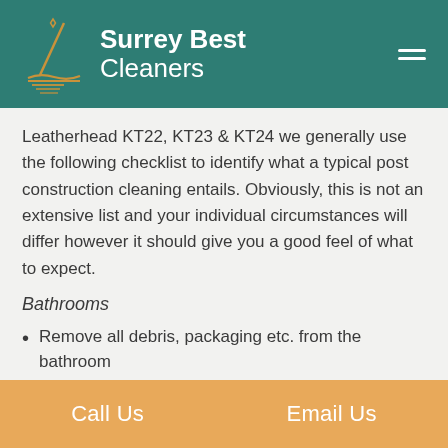Surrey Best Cleaners
Leatherhead KT22, KT23 & KT24 we generally use the following checklist to identify what a typical post construction cleaning entails. Obviously, this is not an extensive list and your individual circumstances will differ however it should give you a good feel of what to expect.
Bathrooms
Remove all debris, packaging etc. from the bathroom
Thoroughly clean all bath tubs/wash
Call Us    Email Us